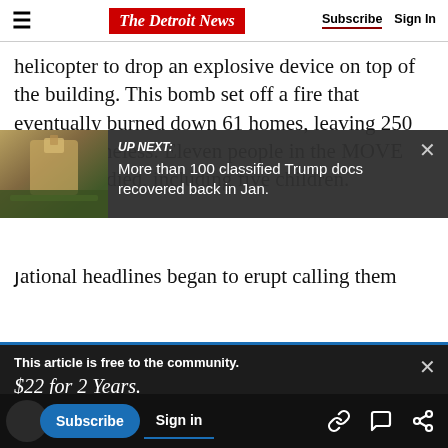The Detroit News | Subscribe | Sign In
[Figure (screenshot): UP NEXT overlay with thumbnail image of a building and text: 'More than 100 classified Trump docs recovered back in Jan.']
helicopter to drop an explosive device on top of the building. This bomb set off a fire that eventually burned down 61 homes, leaving 250 people homeless. Eleven people in the MOVE row house died, including five children.
This article is free to the community.
$22 for 2 Years.
Subscribe now
National headlines began to erupt calling them
government. No, this is not to compare the
Subscribe | Sign in